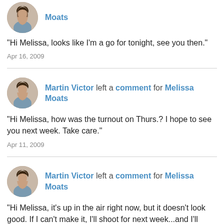[Figure (illustration): Circular avatar photo of a woman with dark hair]
Moats
"Hi Melissa, looks like I'm a go for tonight, see you then."
Apr 16, 2009
[Figure (illustration): Circular avatar photo of a woman with dark hair]
Martin Victor left a comment for Melissa Moats
"Hi Melissa, how was the turnout on Thurs.? I hope to see you next week. Take care."
Apr 11, 2009
[Figure (illustration): Circular avatar photo of a woman with dark hair]
Martin Victor left a comment for Melissa Moats
"Hi Melissa, it's up in the air right now, but it doesn't look good. If I can't make it, I'll shoot for next week...and I'll bring some copy."